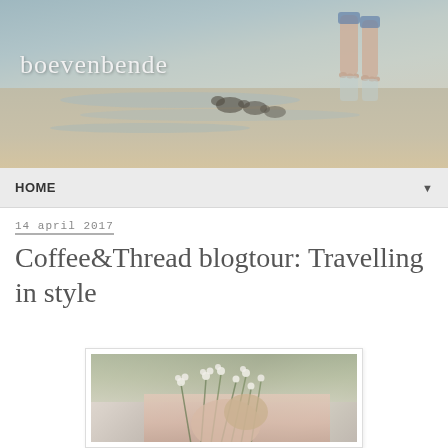[Figure (photo): Blog header banner showing a beach scene with person's bare feet standing in shallow water near the shoreline, with ducks in the background. White text 'boevenbende' overlaid on the left side.]
HOME ▼
14 april 2017
Coffee&Thread blogtour: Travelling in style
[Figure (photo): Photo of a person holding a bunch of small white wildflowers/baby's breath in front of their face, wearing a pink or nude colored top. Soft, dreamy photography style.]